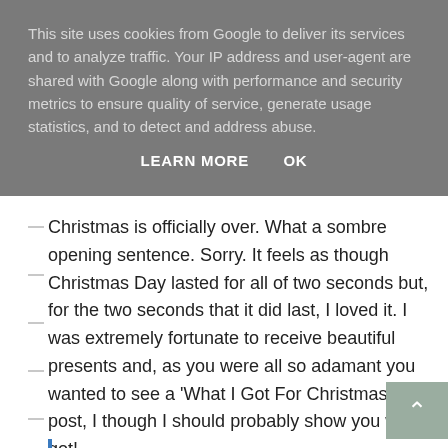This site uses cookies from Google to deliver its services and to analyze traffic. Your IP address and user-agent are shared with Google along with performance and security metrics to ensure quality of service, generate usage statistics, and to detect and address abuse.
LEARN MORE   OK
Christmas is officially over. What a sombre opening sentence. Sorry. It feels as though Christmas Day lasted for all of two seconds but, for the two seconds that it did last, I loved it. I was extremely fortunate to receive beautiful presents and, as you were all so adamant you wanted to see a 'What I Got For Christmas' blog post, I though I should probably show you what I got!